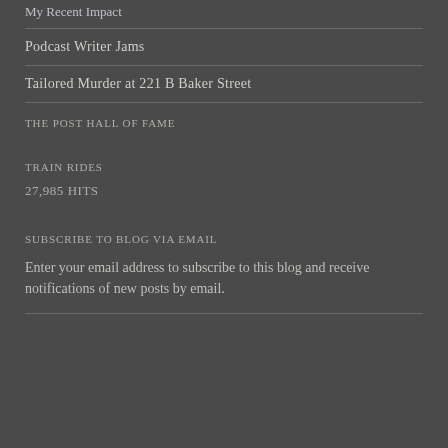Podcast Writer Jams
Tailored Murder at 221 B Baker Street
THE POST HALL OF FAME
TRAIN RIDES
27,985 HITS
SUBSCRIBE TO BLOG VIA EMAIL
Enter your email address to subscribe to this blog and receive notifications of new posts by email.